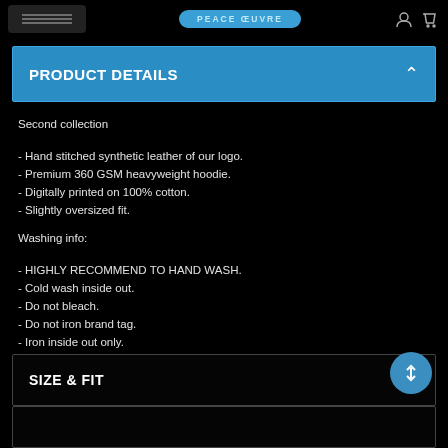PEACE OEUVRE
PRODUCT DETAILS
Second collection
- Hand stitched synthetic leather of our logo.
- Premium 360 GSM heavyweight hoodie.
- Digitally printed on 100% cotton.
- Slightly oversized fit.
Washing info:
- HIGHLY RECOMMEND TO HAND WASH.
- Cold wash inside out.
- Do not bleach.
- Do not iron brand tag.
- Iron inside out only.
SIZE & FIT